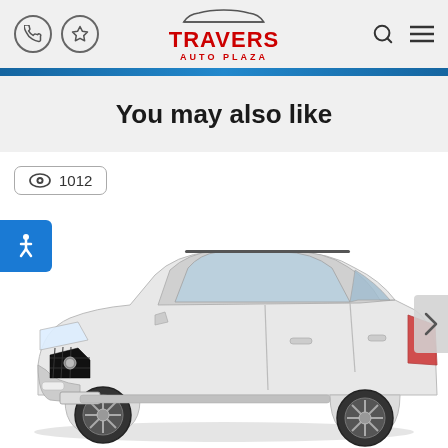Travers Auto Plaza — navigation header with phone icon, map pin icon, logo, search icon, menu icon
You may also like
👁 1012
[Figure (photo): White Buick small SUV (Encore or similar) photographed on white background, three-quarter front view, with roof rails and alloy wheels. A right-arrow carousel navigation control is visible on the right edge.]